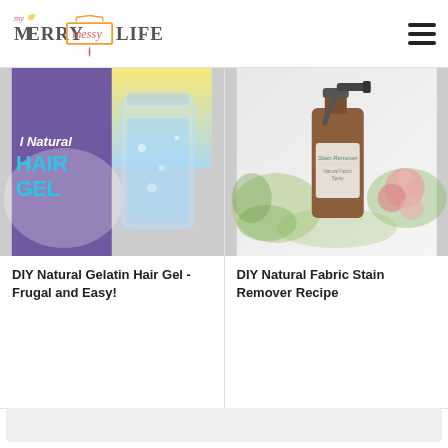My Merry Messy Life — website header with logo and hamburger menu
[Figure (photo): DIY Natural Gelatin Hair Gel photo — glass mason jar with clear gel, blue text overlay reading 'l Natural HAIR GEL' on purple/blue background]
DIY Natural Gelatin Hair Gel - Frugal and Easy!
[Figure (photo): DIY Natural Fabric Stain Remover Recipe photo — amber glass spray bottle with label, surrounded by roses and greenery on white surface]
DIY Natural Fabric Stain Remover Recipe